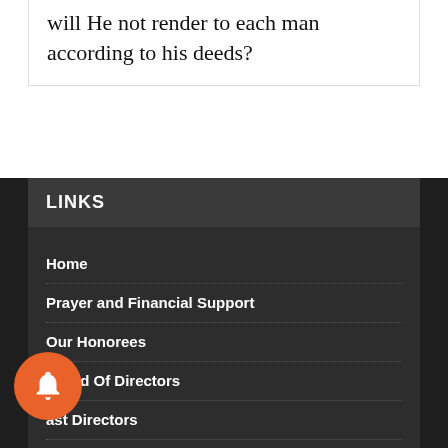will He not render to each man according to his deeds?
LINKS
Home
Prayer and Financial Support
Our Honorees
Board Of Directors
Past Directors
Advisors